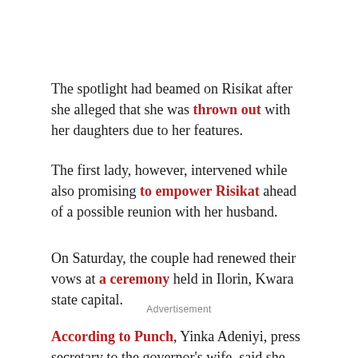The spotlight had beamed on Risikat after she alleged that she was thrown out with her daughters due to her features.
The first lady, however, intervened while also promising to empower Risikat ahead of a possible reunion with her husband.
On Saturday, the couple had renewed their vows at a ceremony held in Ilorin, Kwara state capital.
Advertisement
According to Punch, Yinka Adeniyi, press secretary to the governor's wife, said she secured a two-bedroom